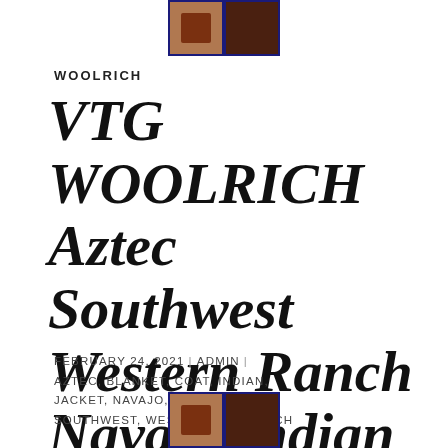[Figure (photo): Two small thumbnail images at the top of the page, partially visible, one with a blue border and one dark/brown image]
WOOLRICH
VTG WOOLRICH Aztec Southwest Western Ranch Navajo Indian Blanket Coat Jacket M
FEBRUARY 24, 2021 | ADMIN | AZTEC, BLANKET, COAT, INDIAN, JACKET, NAVAJO, RANCH, SOUTHWEST, WESTERN, WOOLRICH
[Figure (photo): Two small thumbnail images at the bottom of the page, partially visible, one with a blue border and one dark/brown image]